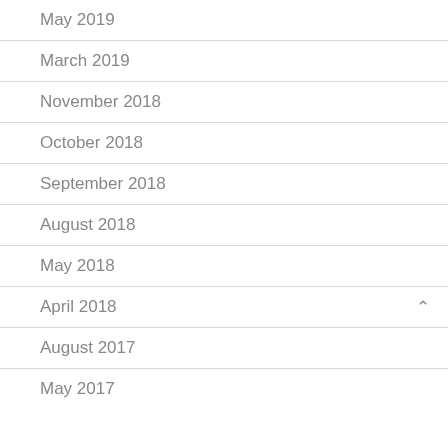May 2019
March 2019
November 2018
October 2018
September 2018
August 2018
May 2018
April 2018
August 2017
May 2017